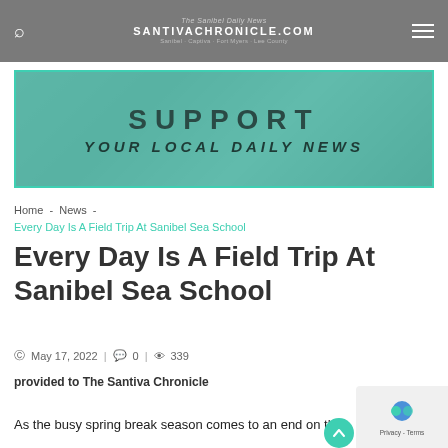SANTIVACHRONICLE.COM
[Figure (illustration): Banner ad with teal overlay over a greyscale keyboard/office image reading SUPPORT YOUR LOCAL DAILY NEWS]
Home - News - Every Day Is A Field Trip At Sanibel Sea School
Every Day Is A Field Trip At Sanibel Sea School
May 17, 2022  |  0  |  339
provided to The Santiva Chronicle
As the busy spring break season comes to an end on the